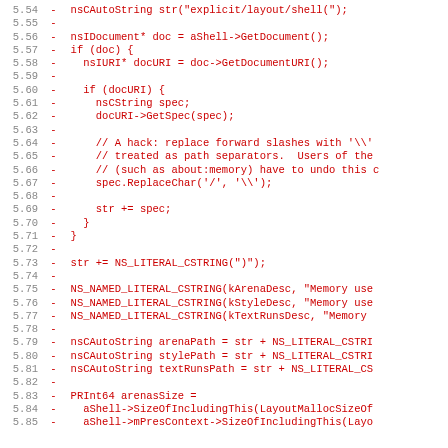[Figure (screenshot): Diff view of C++ source code showing removed lines (prefixed with '-') in red, with line numbers 5.54 through 5.85. Code involves nsIDocument, nsIURI, docURI handling, NS_NAMED_LITERAL_CSTRING macros, and memory-related path variables.]